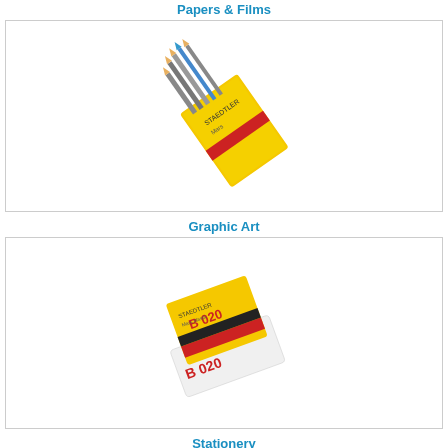Papers & Films
[Figure (photo): A pack of pencils/leads in a yellow packaging, displayed diagonally]
Graphic Art
[Figure (photo): A yellow eraser labeled 'B 020' displayed diagonally]
Stationery
[Figure (photo): Partial view of a product box at the bottom of the page]